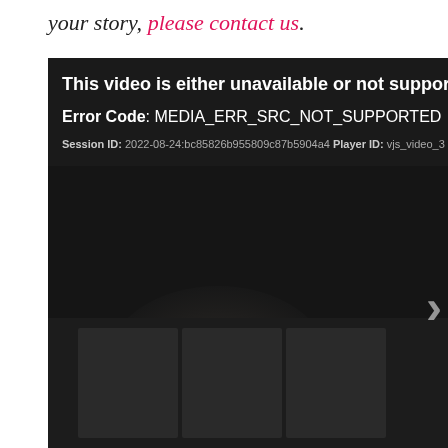your story, please contact us.
[Figure (screenshot): Video player error screen with dark background showing: 'This video is either unavailable or not supported in...' Error Code: MEDIA_ERR_SRC_NOT_SUPPORTED. Session ID: 2022-08-24:bc85826b955809c87b5904a4 Player ID: vjs_video_3. A chevron/arrow pointing right is visible on the right side. Dark blurred background imagery is visible.]